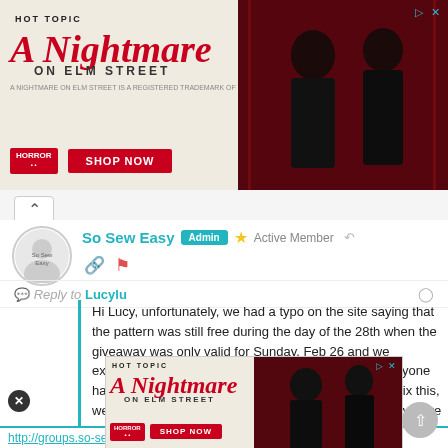[Figure (screenshot): Hot Topic advertisement banner for A Nightmare on Elm Street featuring two people in horror-themed clothing, with SHOP NOW button]
So Sew Easy  Admin  ★ Active Member
Reply to Lucylu
Hi Lucy, unfortunately, we had a typo on the site saying that the pattern was still free during the day of the 28th when the giveaway was only valid for Sunday, Feb 26 and we extended through noon on the 27th to make sure everyone had a chance to download. It is corrected now, but to fix this, we're going to make the pattern available free for a few more
[Figure (screenshot): Second Hot Topic advertisement banner for A Nightmare on Elm Street]
http://groups.so-sew-easy.com/groups/slouchy-sweater/